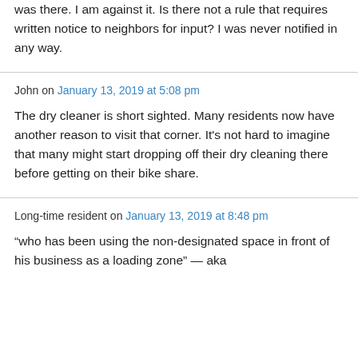was there. I am against it. Is there not a rule that requires written notice to neighbors for input? I was never notified in any way.
John on January 13, 2019 at 5:08 pm
The dry cleaner is short sighted. Many residents now have another reason to visit that corner. It's not hard to imagine that many might start dropping off their dry cleaning there before getting on their bike share.
Long-time resident on January 13, 2019 at 8:48 pm
“who has been using the non-designated space in front of his business as a loading zone” — aka